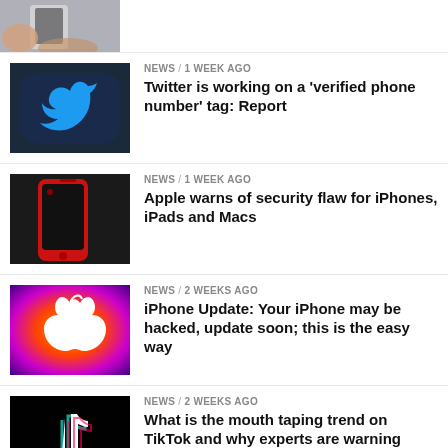[Figure (photo): Partial view of a hand holding a phone, cropped at top]
[Figure (photo): Twitter bird logo on dark blue background]
NEWS / 1 week ago
Twitter is working on a 'verified phone number' tag: Report
[Figure (photo): Red iPhone on dark background]
NEWS / 1 week ago
Apple warns of security flaw for iPhones, iPads and Macs
[Figure (photo): Apple logo on colorful gradient background]
NEWS / 2 weeks ago
iPhone Update: Your iPhone may be hacked, update soon; this is the easy way
[Figure (photo): TikTok logo on dark background]
NEWS / 2 weeks ago
What is the mouth taping trend on TikTok and why experts are warning against it
[Figure (photo): Pink/red background with cards, partially cut off]
NEWS / 2 weeks ago
Former WeWork CEO Adam Neumann to launch